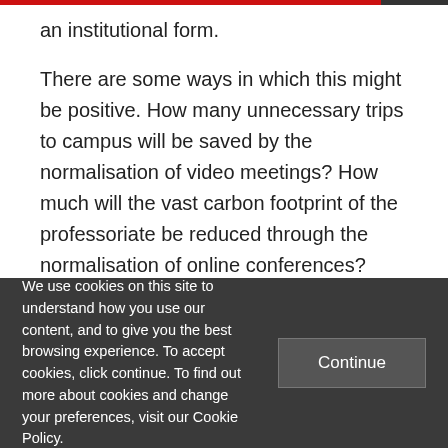an institutional form.
There are some ways in which this might be positive. How many unnecessary trips to campus will be saved by the normalisation of video meetings? How much will the vast carbon footprint of the professoriate be reduced through the normalisation of online conferences? Could the shock of the lockdown lead us to develop a greater
We use cookies on this site to understand how you use our content, and to give you the best browsing experience. To accept cookies, click continue. To find out more about cookies and change your preferences, visit our Cookie Policy.